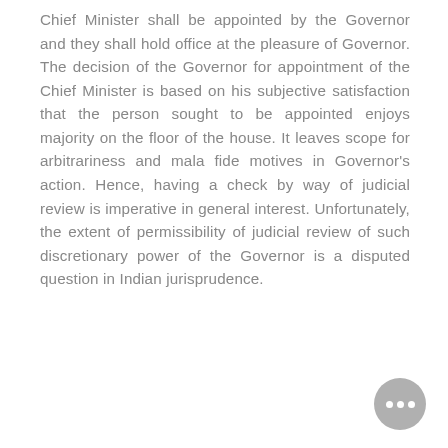Chief Minister shall be appointed by the Governor and they shall hold office at the pleasure of Governor. The decision of the Governor for appointment of the Chief Minister is based on his subjective satisfaction that the person sought to be appointed enjoys majority on the floor of the house. It leaves scope for arbitrariness and mala fide motives in Governor's action. Hence, having a check by way of judicial review is imperative in general interest. Unfortunately, the extent of permissibility of judicial review of such discretionary power of the Governor is a disputed question in Indian jurisprudence.